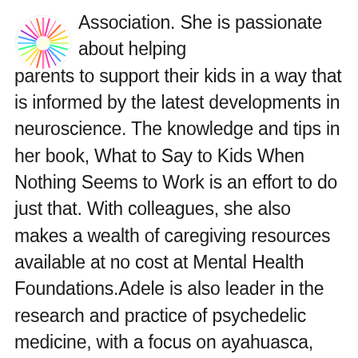[Figure (logo): Circular colorful logo with multicolored spiky/firework pattern in pink, blue, yellow, and green on white background]
Association. She is passionate about helping parents to support their kids in a way that is informed by the latest developments in neuroscience. The knowledge and tips in her book, What to Say to Kids When Nothing Seems to Work is an effort to do just that. With colleagues, she also makes a wealth of caregiving resources available at no cost at Mental Health Foundations.Adele is also leader in the research and practice of psychedelic medicine, with a focus on ayahuasca, MDMA, psilocybin and ketamine. Currently, she is the clinical investigator and strategy lead for the MAPS-sponsored MDMA-assisted psychotherapy study for